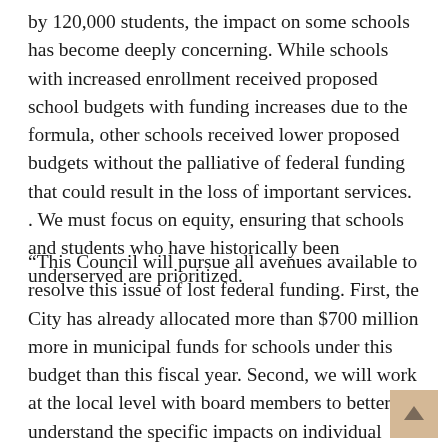by 120,000 students, the impact on some schools has become deeply concerning. While schools with increased enrollment received proposed school budgets with funding increases due to the formula, other schools received lower proposed budgets without the palliative of federal funding that could result in the loss of important services. . We must focus on equity, ensuring that schools and students who have historically been underserved are prioritized.
“This Council will pursue all avenues available to resolve this issue of lost federal funding. First, the City has already allocated more than $700 million more in municipal funds for schools under this budget than this fiscal year. Second, we will work at the local level with board members to better understand the specific impacts on individual schools in their districts. Third, the Board will hold a joint oversight hearing with the Oversight and Investigations Committee and the Education Committee to identify and review every federal stimulus dollar received or expected by our city that may fill